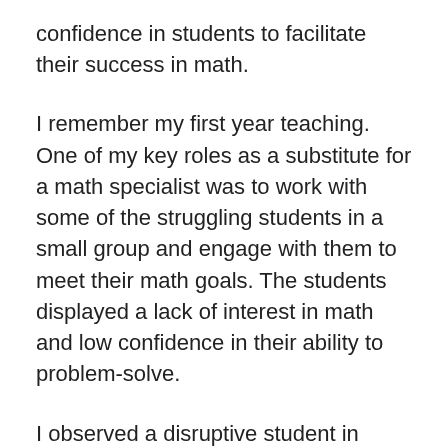confidence in students to facilitate their success in math.
I remember my first year teaching. One of my key roles as a substitute for a math specialist was to work with some of the struggling students in a small group and engage with them to meet their math goals. The students displayed a lack of interest in math and low confidence in their ability to problem-solve.
I observed a disruptive student in algebra class who was very quiet in my small group. He would look at the different 3D shape manipulatives in my room whenever we were together. One day, I deviated